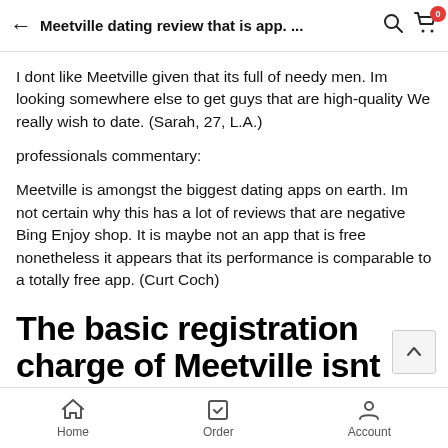Meetville dating review that is app. ...
I dont like Meetville given that its full of needy men. Im looking somewhere else to get guys that are high-quality We really wish to date. (Sarah, 27, L.A.)
professionals commentary:
Meetville is amongst the biggest dating apps on earth. Im not certain why this has a lot of reviews that are negative Bing Enjoy shop. It is maybe not an app that is free nonetheless it appears that its performance is comparable to a totally free app. (Curt Coch)
The basic registration charge of Meetville isnt